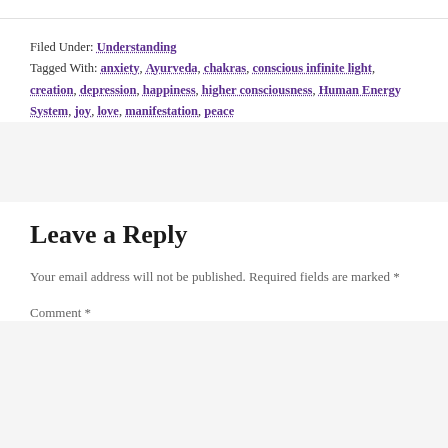Filed Under: Understanding
Tagged With: anxiety, Ayurveda, chakras, conscious infinite light, creation, depression, happiness, higher consciousness, Human Energy System, joy, love, manifestation, peace
Leave a Reply
Your email address will not be published. Required fields are marked *
Comment *